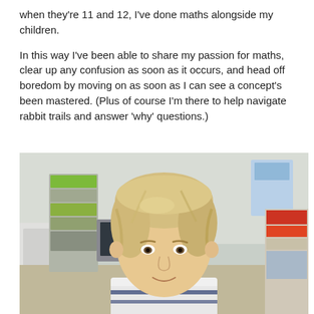when they're 11 and 12, I've done maths alongside my children.
In this way I've been able to share my passion for maths, clear up any confusion as soon as it occurs, and head off boredom by moving on as soon as I can see a concept's been mastered. (Plus of course I'm there to help navigate rabbit trails and answer 'why' questions.)
[Figure (photo): A young blonde-haired child smiling slightly, wearing a white and navy striped top, standing in what appears to be a home office or study room with shelving, a desk chair, and storage visible in the background.]